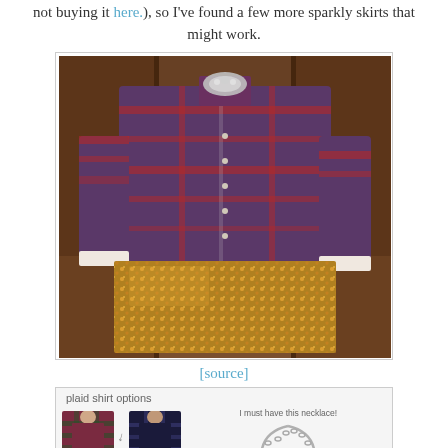not buying it here.), so I've found a few more sparkly skirts that might work.
[Figure (photo): Photo of a plaid flannel shirt (purple, red, blue plaid) paired with a gold sequin skirt, laid flat, with a crystal statement necklace at the collar, against a wooden cabinet background.]
[source]
[Figure (photo): Collage image showing: 'plaid shirt options' label, two models wearing plaid shirts (one red plaid, one dark plaid), arrows pointing from first to second, and a silver chain statement necklace with text 'I must have this necklace!' Numbers 1, 2, 3 label each item.]